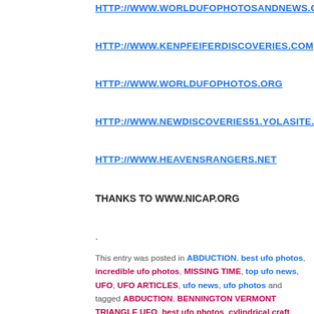HTTP://WWW.WORLDUFOPHOTOSANDNEWS.ORG
HTTP://WWW.KENPFEIFERDISCOVERIES.COM
HTTP://WWW.WORLDUFOPHOTOS.ORG
HTTP://WWW.NEWDISCOVERIES51.YOLASITE.COM
HTTP://WWW.HEAVENSRANGERS.NET
THANKS TO WWW.NICAP.ORG
.
This entry was posted in ABDUCTION, best ufo photos, incredible ufo photos, MISSING TIME, top ufo news, UFO, UFO ARTICLES, ufo news, ufo photos and tagged ABDUCTION, BENNINGTON VERMONT TRIANGLE UFO, best ufo photos, cylindrical craft, diamond ufo, DISC, disclosure, discoveries on mars, discoveries on moon, FLYING SAUCER, government black ops, I.S.S. UFO, incredible ufo photos, INFRA RED UFO, international space station and ufo alien craft, ken Pfeifer discoveries,